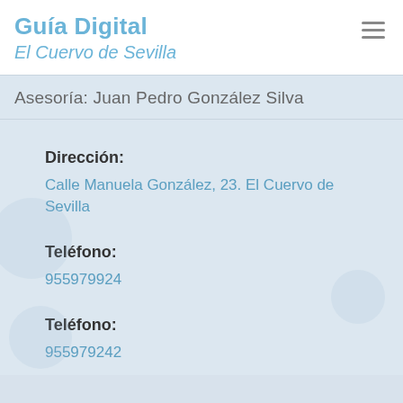Guía Digital
El Cuervo de Sevilla
Asesoría: Juan Pedro González Silva
Dirección:
Calle Manuela González, 23. El Cuervo de Sevilla
Teléfono:
955979924
Teléfono:
955979242